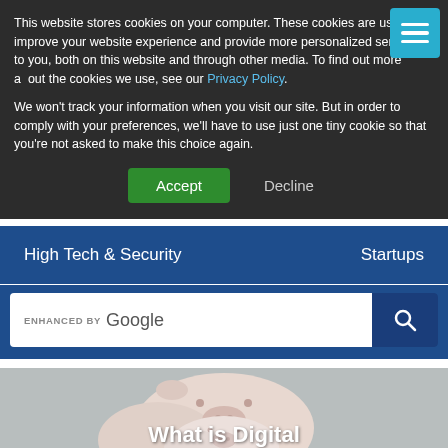This website stores cookies on your computer. These cookies are used to improve your website experience and provide more personalized services to you, both on this website and through other media. To find out more about the cookies we use, see our Privacy Policy.
We won't track your information when you visit our site. But in order to comply with your preferences, we'll have to use just one tiny cookie so that you're not asked to make this choice again.
Accept
Decline
High Tech & Security
Startups
ENHANCED BY Google
[Figure (photo): Two white piggy banks on a gray background, partial view. Bottom portion shows title text 'What is Digital']
What is Digital